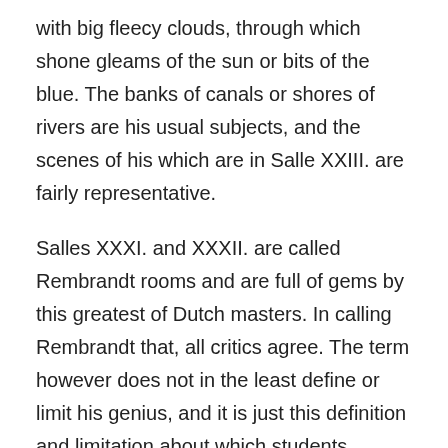with big fleecy clouds, through which shone gleams of the sun or bits of the blue. The banks of canals or shores of rivers are his usual subjects, and the scenes of his which are in Salle XXIII. are fairly representative.
Salles XXXI. and XXXII. are called Rembrandt rooms and are full of gems by this greatest of Dutch masters. In calling Rembrandt that, all critics agree. The term however does not in the least define or limit his genius, and it is just this definition and limitation about which students, painters and critics have widely disagreed. Rembrandt, the marvellous technician, yet often the slovenly workman ; the greatest realist of his own or any time, yet one of the idealistic dreamers of the world; Rembrandt, the unflattering, argus-eyed portrait-painter; Rembrandt, the mystic ; Rembrandt the Lutheran ;